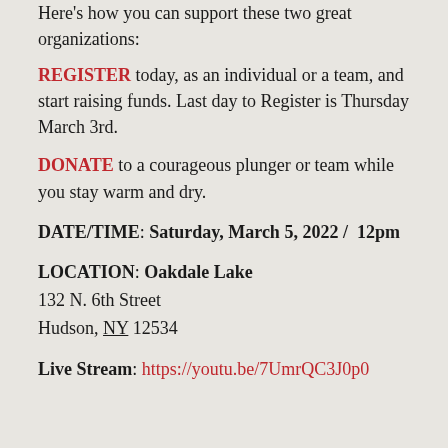Here's how you can support these two great organizations:
REGISTER today, as an individual or a team, and start raising funds. Last day to Register is Thursday March 3rd.
DONATE to a courageous plunger or team while you stay warm and dry.
DATE/TIME: Saturday, March 5, 2022 /  12pm
LOCATION: Oakdale Lake
132 N. 6th Street
Hudson, NY 12534
Live Stream: https://youtu.be/7UmrQC3J0p0